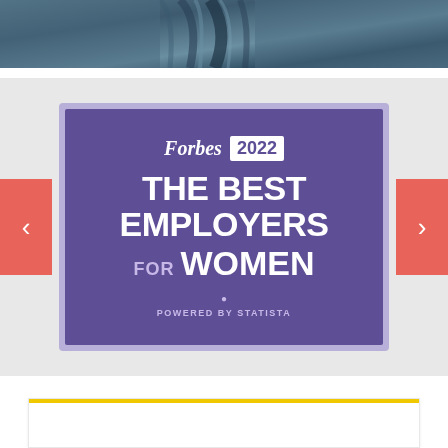[Figure (photo): Dark blue/grey fabric or clothing draped across the top of the page, partially visible]
[Figure (logo): Forbes 2022 The Best Employers for Women award badge. Purple rectangular badge with lavender border. Text reads: Forbes 2022 THE BEST EMPLOYERS FOR WOMEN POWERED BY STATISTA. Navigation arrows (< >) in coral/salmon colored boxes on either side. Badge displayed on a light grey slideshow-style background.]
[Figure (other): White/light content area at the bottom with a yellow horizontal accent line near the top edge of the section]